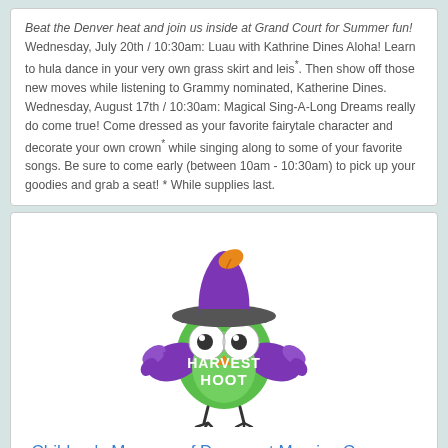Beat the Denver heat and join us inside at Grand Court for Summer fun! Wednesday, July 20th / 10:30am: Luau with Kathrine Dines Aloha! Learn to hula dance in your very own grass skirt and leis*. Then show off those new moves while listening to Grammy nominated, Katherine Dines. Wednesday, August 17th / 10:30am: Magical Sing-A-Long Dreams really do come true! Come dressed as your favorite fairytale character and decorate your own crown* while singing along to some of your favorite songs. Be sure to come early (between 10am - 10:30am) to pick up your goodies and grab a seat! * While supplies last.
[Figure (illustration): Cartoon owl wearing a purple witch hat with an orange leaf decoration, sitting on text that reads HARVEST HOOT in green with purple wings spread out]
Children's Museum of Denver at Marsico Campus - Harvest Hoot